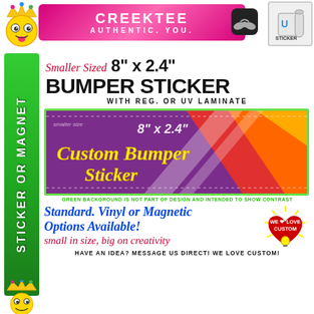[Figure (logo): CREEKTEE AUTHENTIC. YOU. pink/magenta banner with mascot emoji and wing logo icon, plus UV Sticker roll icon]
[Figure (illustration): Green vertical ribbon banner reading STICKER OR MAGNET]
Smaller Sized 8" x 2.4" BUMPER STICKER WITH REG. OR UV LAMINATE
[Figure (photo): Custom bumper sticker sample showing 8" x 2.4" Custom Bumper Sticker in purple/colorful design]
GREEN BACKGROUND IS NOT PART OF DESIGN AND INTENDED TO SHOW CONTRAST
Standard. Vinyl or Magnetic Options Available!
small in size, big on creativity
HAVE AN IDEA? MESSAGE US DIRECT! WE LOVE CUSTOM!
[Figure (logo): WE LOVE CUSTOM heart/lightbulb badge logo]